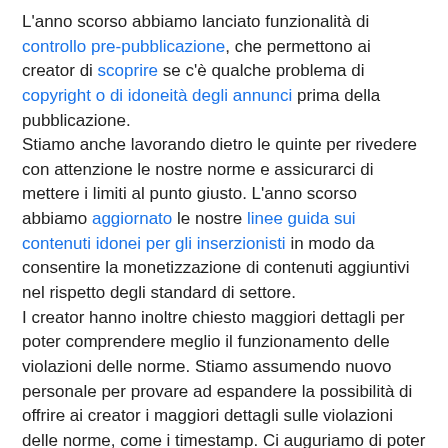L'anno scorso abbiamo lanciato funzionalità di controllo pre-pubblicazione, che permettono ai creator di scoprire se c'è qualche problema di copyright o di idoneità degli annunci prima della pubblicazione. Stiamo anche lavorando dietro le quinte per rivedere con attenzione le nostre norme e assicurarci di mettere i limiti al punto giusto. L'anno scorso abbiamo aggiornato le nostre linee guida sui contenuti idonei per gli inserzionisti in modo da consentire la monetizzazione di contenuti aggiuntivi nel rispetto degli standard di settore. I creator hanno inoltre chiesto maggiori dettagli per poter comprendere meglio il funzionamento delle violazioni delle norme. Stiamo assumendo nuovo personale per provare ad espandere la possibilità di offrire ai creator i maggiori dettagli sulle violazioni delle norme, come i timestamp. Ci auguriamo di poter sviluppare ulteriormente questa funzione.
Innovazione